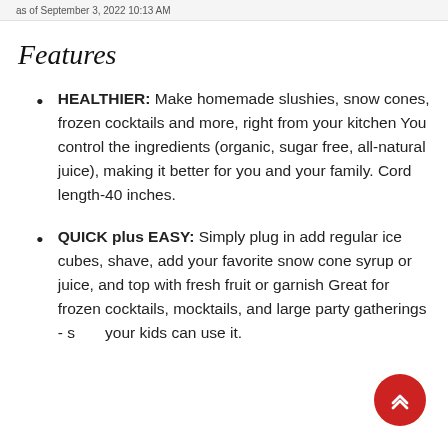as of September 3, 2022 10:13 AM
Features
HEALTHIER: Make homemade slushies, snow cones, frozen cocktails and more, right from your kitchen You control the ingredients (organic, sugar free, all-natural juice), making it better for you and your family. Cord length-40 inches.
QUICK plus EASY: Simply plug in add regular ice cubes, shave, add your favorite snow cone syrup or juice, and top with fresh fruit or garnish Great for frozen cocktails, mocktails, and large party gatherings - so your kids can use it.